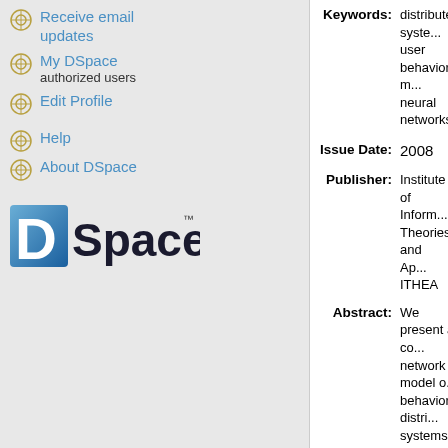Receive email updates
My DSpace authorized users
Edit Profile
Help
About DSpace
[Figure (logo): DSpace logo — blue D with 'Space' text and TM mark]
Keywords: distributed systems, user behavior modeling, neural networks
Issue Date: 2008
Publisher: Institute of Information Theories and Applications ITHEA
Abstract: We present a convolutional network model of user behavior in distributed systems. The model covers both dynamical and statistical features of user behavior and consists of three components: on-line and off-line modules and change detection algorithm. The on-line model reflects dynamical features by predicting current user actions on the basis of the previous ones. Off-line component is based on the analysis of statistical parameters of user behavior. In both models neural networks are used.